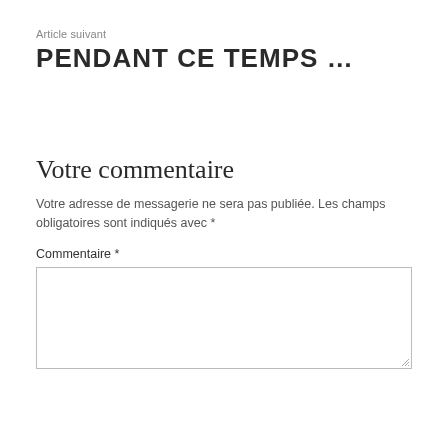Article suivant
PENDANT CE TEMPS …
Votre commentaire
Votre adresse de messagerie ne sera pas publiée. Les champs obligatoires sont indiqués avec *
Commentaire *